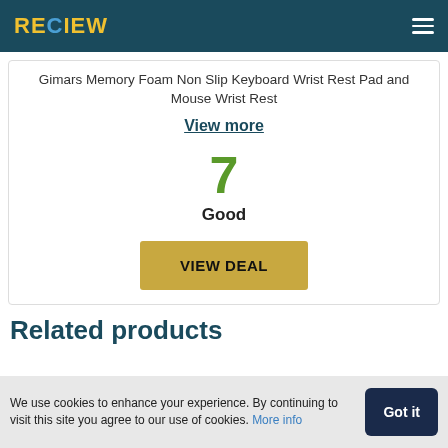RECIEW
Gimars Memory Foam Non Slip Keyboard Wrist Rest Pad and Mouse Wrist Rest
View more
7
Good
VIEW DEAL
Related products
We use cookies to enhance your experience. By continuing to visit this site you agree to our use of cookies. More info